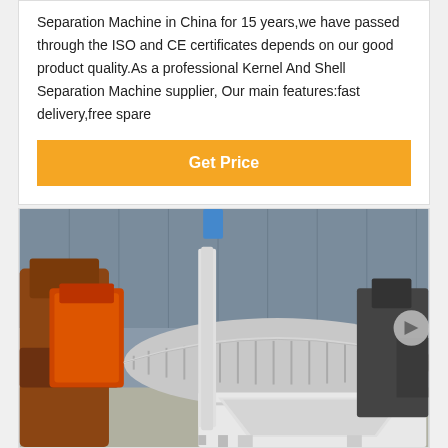Separation Machine in China for 15 years,we have passed through the ISO and CE certificates depends on our good product quality.As a professional Kernel And Shell Separation Machine supplier, Our main features:fast delivery,free spare
[Figure (other): Orange button labeled 'Get Price']
[Figure (photo): Industrial magnetic separation machine in a factory warehouse. Large cylindrical drum separator unit in silver/white color with orange machinery visible on the left side. Industrial building with metal walls in background.]